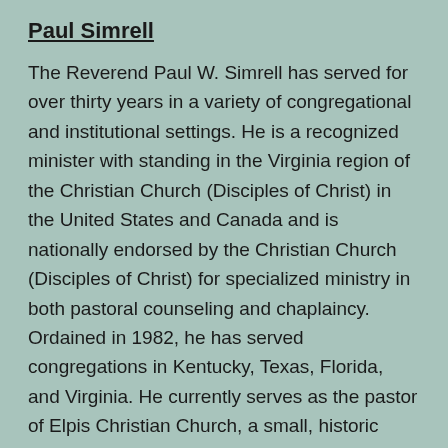Paul Simrell
The Reverend Paul W. Simrell has served for over thirty years in a variety of congregational and institutional settings. He is a recognized minister with standing in the Virginia region of the Christian Church (Disciples of Christ) in the United States and Canada and is nationally endorsed by the Christian Church (Disciples of Christ) for specialized ministry in both pastoral counseling and chaplaincy. Ordained in 1982, he has served congregations in Kentucky, Texas, Florida, and Virginia. He currently serves as the pastor of Elpis Christian Church, a small, historic congregation located just a few miles west of Richmond, Virginia. Elpis is the Greek word meaning “expectant hope.” He also serves on the